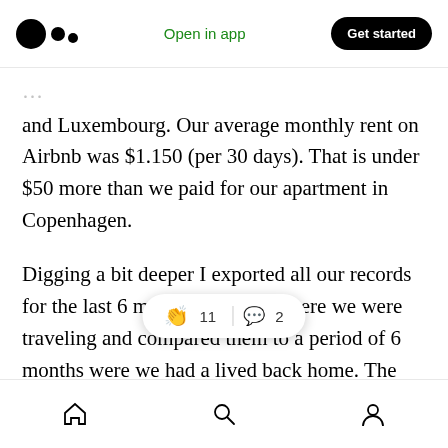Open in app | Get started
and Luxembourg. Our average monthly rent on Airbnb was $1.150 (per 30 days). That is under $50 more than we paid for our apartment in Copenhagen.
Digging a bit deeper I exported all our records for the last 6 months of 2015, where we were traveling and compared them to a period of 6 months were we had a lived back home. The results? We saved 10% while traveling around, compared to stay[ing at home]. The interesting thing was, that th[e 10% includes eve]rything: flights,
Home Search Profile